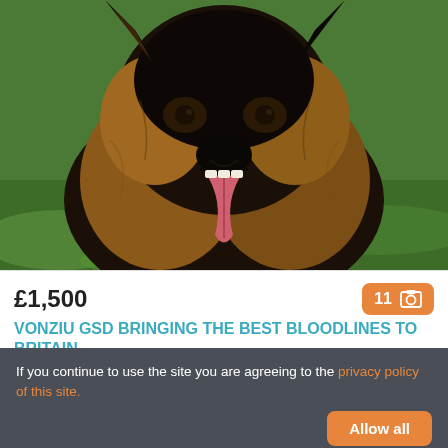[Figure (photo): Close-up photo of a German Shepherd dog (long-haired, black and tan coloring) with mouth open and tongue out, lying on green grass]
£1,500
11 [photo icon]
VONZIU GSD BRINGING THE BEST BLOODLINES TO BRITAIN
South Clifton, Nottinghamshire, NG23 7
If you continue to use the site you are agreeing to the privacy policy of this site.
Allow all